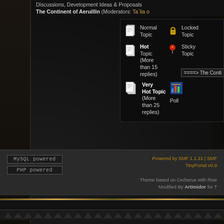Discussions, Development Ideas & Proposals
The Continent of Aeruillin (Moderators: Ta`lia o...
[Figure (screenshot): Forum topic type legend popup showing icons and labels: Normal Topic, Locked Topic, Hot Topic (More than 15 replies), Sticky Topic, Very Hot Topic (More than 25 replies), Poll. Also shows a partial link '=====> The Contin...']
MySQL powered | PHP powered | Powered by SMF 1.1.21 | SMF... | TinyPortal v0.9... | Theme based on Cerberus with Rise... | Modified By Artimidor for T...